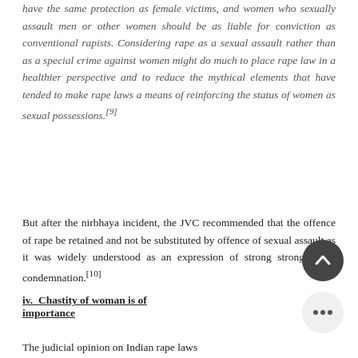have the same protection as female victims, and women who sexually assault men or other women should be as liable for conviction as conventional rapists. Considering rape as a sexual assault rather than as a special crime against women might do much to place rape law in a healthier perspective and to reduce the mythical elements that have tended to make rape laws a means of reinforcing the status of women as sexual possessions.[9]
But after the nirbhaya incident, the JVC recommended that the offence of rape be retained and not be substituted by offence of sexual assault as it was widely understood as an expression of strong moral condemnation.[10]
iv. Chastity of woman is of importance
The judicial opinion on Indian rape laws